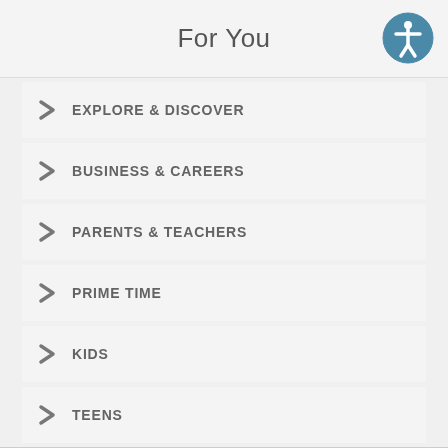For You
EXPLORE & DISCOVER
BUSINESS & CAREERS
PARENTS & TEACHERS
PRIME TIME
KIDS
TEENS
NEWS